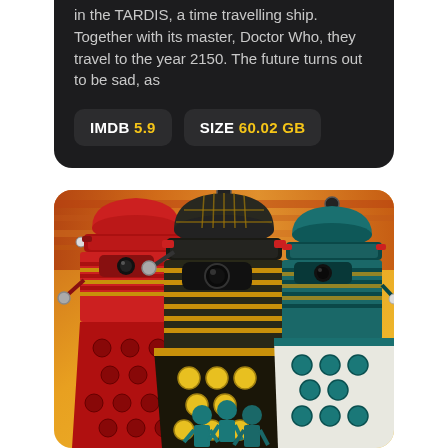in the TARDIS, a time travelling ship. Together with its master, Doctor Who, they travel to the year 2150. The future turns out to be sad, as
IMDB 5.9   SIZE 60.02 GB
[Figure (illustration): Colorful comic-book style illustration of three Daleks (robot creatures from Doctor Who) — a red one on the left, a dark grey and gold one in the center, and a teal/white one on the right — with humanoid figures in teal below them, against an orange and yellow background.]